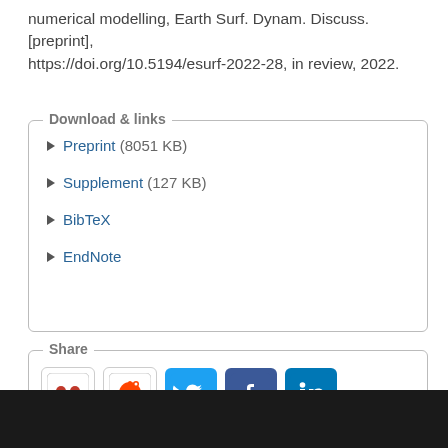numerical modelling, Earth Surf. Dynam. Discuss. [preprint], https://doi.org/10.5194/esurf-2022-28, in review, 2022.
Download & links
Preprint (8051 KB)
Supplement (127 KB)
BibTeX
EndNote
Share
[Figure (other): Social sharing icons: Mendeley, Reddit, Twitter, Facebook, LinkedIn]